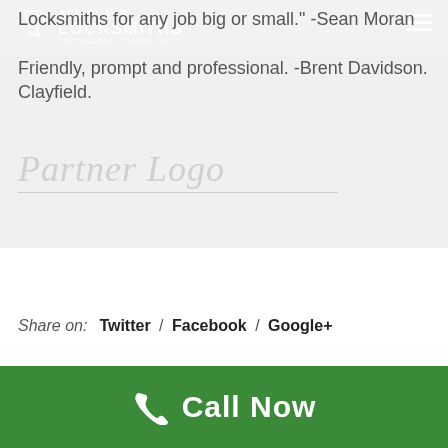[Figure (logo): All Class Locksmiths logo with wine glass/key icon and text]
Locksmiths for any job big or small." -Sean Moran
Friendly, prompt and professional. -Brent Davidson. Clayfield.
[Figure (logo): Partner Logo placeholder in italic script with underline]
Share on:  Twitter /  Facebook /  Google+
[Figure (other): Call Now button bar with phone icon on green background]